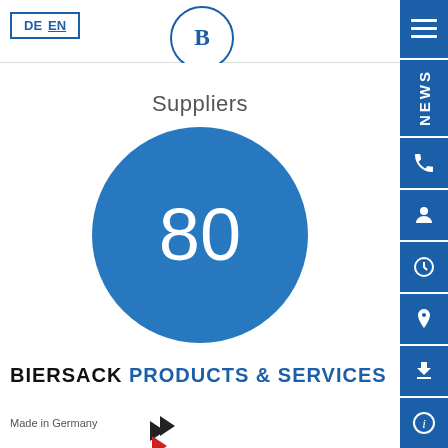DE  EN
[Figure (logo): Biersack logo — letter B in a circle]
Suppliers
[Figure (infographic): Large blue circle with the number 80 in white, representing 80 Suppliers]
BIERSACK PRODUCTS & SERVICES
Made in Germany
[Figure (logo): Made in Germany arrows logo — black and red arrows]
[Figure (other): Right sidebar with NEWS tab and icon buttons (phone, person, clock, location, download, info)]